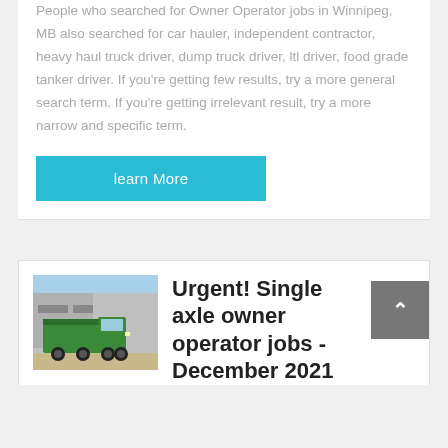People who searched for Owner Operator jobs in Winnipeg, MB also searched for car hauler, independent contractor, heavy haul truck driver, dump truck driver, ltl driver, food grade tanker driver. If you're getting few results, try a more general search term. If you're getting irrelevant result, try a more narrow and specific term.
learn More
[Figure (photo): Green dump truck parked in front of a building]
Urgent! Single axle owner operator jobs - December 2021